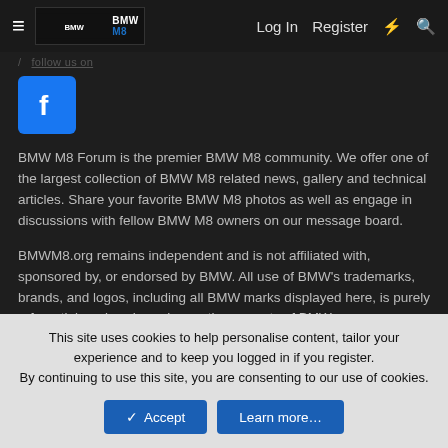Log In   Register
[Figure (logo): Facebook logo icon - blue square with white 'f']
BMW M8 Forum is the premier BMW M8 community. We offer one of the largest collection of BMW M8 related news, gallery and technical articles. Share your favorite BMW M8 photos as well as engage in discussions with fellow BMW M8 owners on our message board.
BMWM8.org remains independent and is not affiliated with, sponsored by, or endorsed by BMW. All use of BMW's trademarks, brands, and logos, including all BMW marks displayed here, is purely referential, and such marks are the property of BMW.
Copyright 2022 BMWM8.org. All Rights Reserved.
This site uses cookies to help personalise content, tailor your experience and to keep you logged in if you register.
By continuing to use this site, you are consenting to our use of cookies.